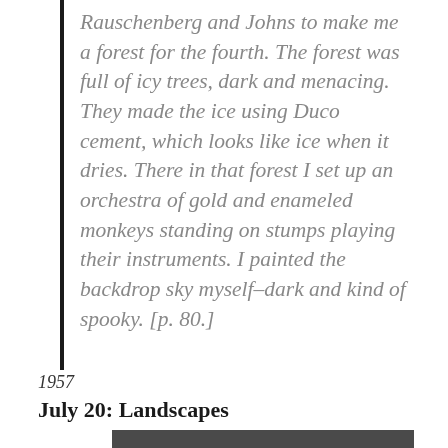Rauschenberg and Johns to make me a forest for the fourth. The forest was full of icy trees, dark and menacing. They made the ice using Duco cement, which looks like ice when it dries. There in that forest I set up an orchestra of gold and enameled monkeys standing on stumps playing their instruments. I painted the backdrop sky myself–dark and kind of spooky. [p. 80.]
1957
July 20: Landscapes
[Figure (photo): A dark gray/charcoal colored rectangular image, partially visible at the bottom of the page.]